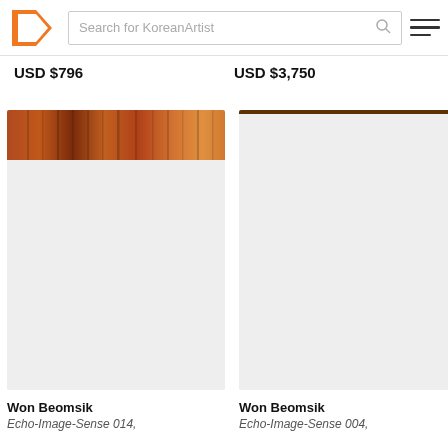Search for KoreanArtist
USD $796
USD $3,750
[Figure (photo): Artwork image card for Echo-Image-Sense 014 — warm brown toned photograph at top, rest is light grey placeholder]
Won Beomsik
Echo-Image-Sense 014,
[Figure (photo): Artwork image card for Echo-Image-Sense 004 — dark brown/olive thin bar at top, rest is light grey placeholder]
Won Beomsik
Echo-Image-Sense 004,